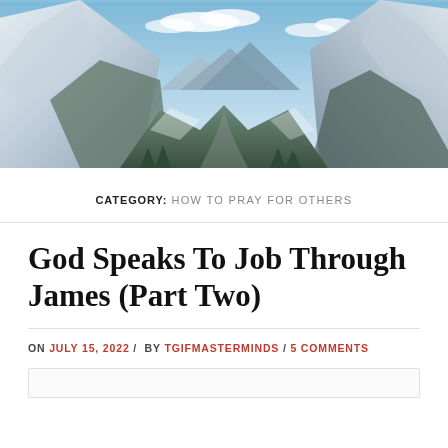[Figure (photo): Panoramic photo of snow-capped mountain peaks with a valley and blue sky with clouds]
CATEGORY: HOW TO PRAY FOR OTHERS
God Speaks To Job Through James (Part Two)
ON JULY 15, 2022 / BY TGIFMASTERMINDS / 5 COMMENTS